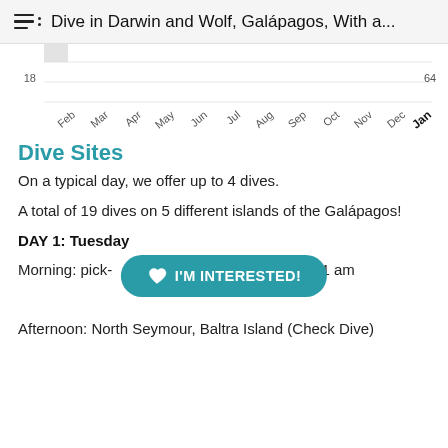Dive in Darwin and Wolf, Galápagos, With a...
[Figure (continuous-plot): Partial bottom portion of a bar/line chart showing months Feb through Jan on x-axis, with y-axis values visible: 18 on left, 64 on right, and a partial bar at top left (cut off). Months shown: Feb, Mar, Apr, May, Jun, Jul, Aug, Sep, Oct, Nov, Dec, Jan (bold).]
Dive Sites
On a typical day, we offer up to 4 dives.
A total of 19 dives on 5 different islands of the Galápagos!
DAY 1: Tuesday
Morning: pick-[up at airport] (GPS) at 11 am
Afternoon: North Seymour, Baltra Island (Check Dive)
[Figure (other): Teal rounded pill-shaped CTA button with heart icon and text 'I'M INTERESTED!' overlaid on the text content.]